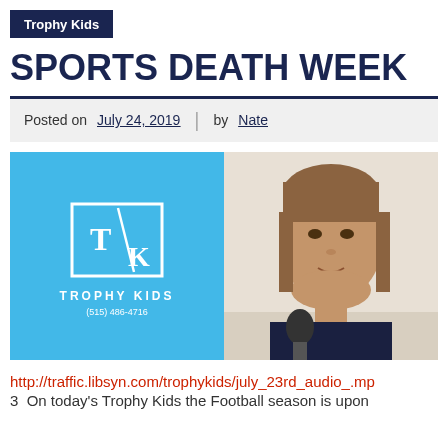Trophy Kids
SPORTS DEATH WEEK
Posted on July 24, 2019  |  by Nate
[Figure (photo): Split image: left half shows a light blue background with the Trophy Kids logo (T/K in a square box) and text 'TROPHY KIDS (515) 486-4716'; right half shows a young man with short brown hair speaking into a microphone against a beige wall background.]
http://traffic.libsyn.com/trophykids/july_23rd_audio_.mp3  On today's Trophy Kids the Football season is upon